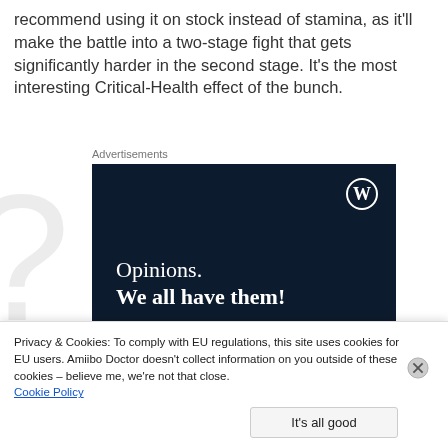recommend using it on stock instead of stamina, as it’ll make the battle into a two-stage fight that gets significantly harder in the second stage. It’s the most interesting Critical-Health effect of the bunch.
Advertisements
[Figure (other): WordPress.com advertisement banner with dark navy background, WordPress logo (W in circle) top right, text reading 'Opinions. We all have them!']
Privacy & Cookies: To comply with EU regulations, this site uses cookies for EU users. Amiibo Doctor doesn't collect information on you outside of these cookies – believe me, we're not that close.
Cookie Policy
It's all good